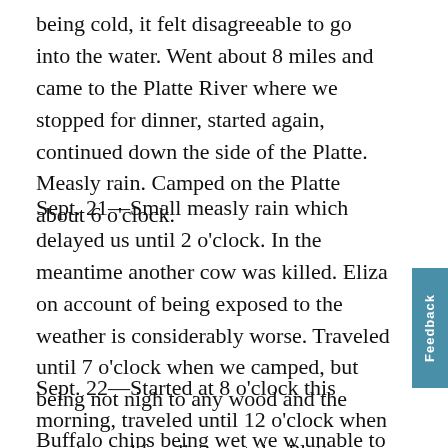being cold, it felt disagreeable to go into the water. Went about 8 miles and came to the Platte River where we stopped for dinner, started again, continued down the side of the Platte. Measly rain. Camped on the Platte about 6 o'clock.
Sept. 21—Small measly rain which delayed us until 2 o'clock. In the meantime another cow was killed. Eliza on account of being exposed to the weather is considerably worse. Traveled until 7 o'clock when we camped, but being not nigh to any wood and the Buffalo chips being wet we were unable to cooking.
Sept. 22—Started at 8 o'clock this morning, traveled until 12 o'clock when we stopped for dinner at the Platte, started again, continued...